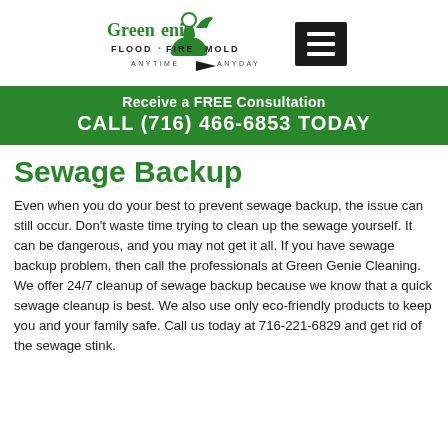[Figure (logo): Green Genie Flood Fire Mold logo with stylized genie figure, ANYTIME ANYDAY tagline]
[Figure (other): Black hamburger/menu button with three white horizontal lines]
Receive a FREE Consultation
CALL (716) 466-6853 TODAY
Sewage Backup
Even when you do your best to prevent sewage backup, the issue can still occur. Don't waste time trying to clean up the sewage yourself. It can be dangerous, and you may not get it all. If you have sewage backup problem, then call the professionals at Green Genie Cleaning. We offer 24/7 cleanup of sewage backup because we know that a quick sewage cleanup is best. We also use only eco-friendly products to keep you and your family safe. Call us today at 716-221-6829 and get rid of the sewage stink.